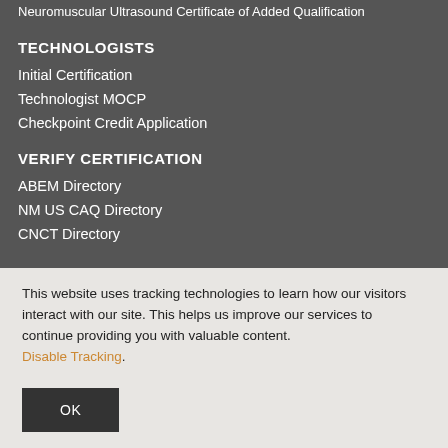Neuromuscular Ultrasound Certificate of Added Qualification
TECHNOLOGISTS
Initial Certification
Technologist MOCP
Checkpoint Credit Application
VERIFY CERTIFICATION
ABEM Directory
NM US CAQ Directory
CNCT Directory
This website uses tracking technologies to learn how our visitors interact with our site. This helps us improve our services to continue providing you with valuable content. Disable Tracking.
OK